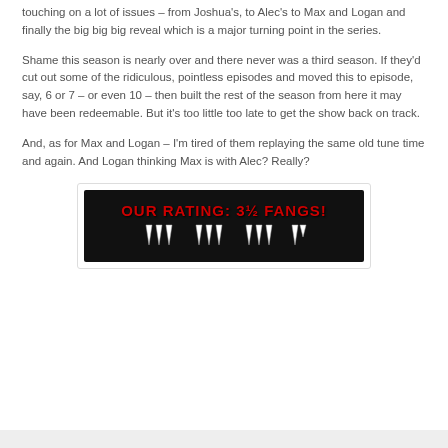touching on a lot of issues – from Joshua's, to Alec's to Max and Logan and finally the big big big reveal which is a major turning point in the series.
Shame this season is nearly over and there never was a third season. If they'd cut out some of the ridiculous, pointless episodes and moved this to episode, say, 6 or 7 – or even 10 – then built the rest of the season from here it may have been redeemable. But it's too little too late to get the show back on track.
And, as for Max and Logan – I'm tired of them replaying the same old tune time and again. And Logan thinking Max is with Alec? Really?
[Figure (other): Rating graphic on black background reading 'OUR RATING: 3½ FANGS!' with fang icons below representing 3.5 fangs rating]